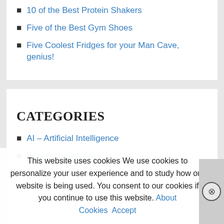10 of the Best Protein Shakers
Five of the Best Gym Shoes
Five Coolest Fridges for your Man Cave, genius!
CATEGORIES
AI – Artificial Intelligence
Bluetooth Speakers
This website uses cookies We use cookies to personalize your user experience and to study how our website is being used. You consent to our cookies if you continue to use this website. About Cookies Accept